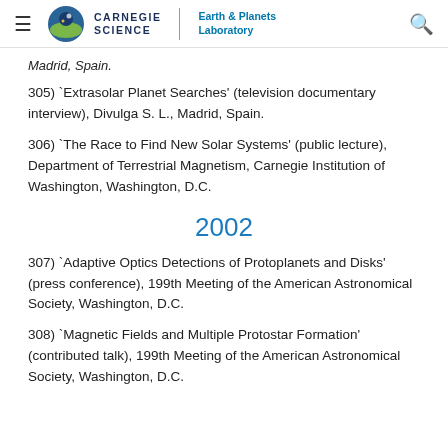Carnegie Science | Earth & Planets Laboratory
Madrid, Spain.
305) `Extrasolar Planet Searches' (television documentary interview), Divulga S. L., Madrid, Spain.
306) `The Race to Find New Solar Systems' (public lecture), Department of Terrestrial Magnetism, Carnegie Institution of Washington, Washington, D.C.
2002
307) `Adaptive Optics Detections of Protoplanets and Disks' (press conference), 199th Meeting of the American Astronomical Society, Washington, D.C.
308) `Magnetic Fields and Multiple Protostar Formation' (contributed talk), 199th Meeting of the American Astronomical Society, Washington, D.C.